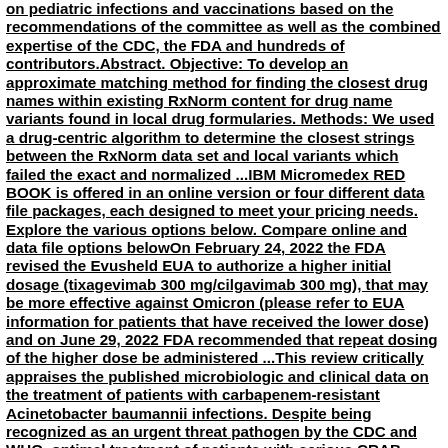on pediatric infections and vaccinations based on the recommendations of the committee as well as the combined expertise of the CDC, the FDA and hundreds of contributors.Abstract. Objective: To develop an approximate matching method for finding the closest drug names within existing RxNorm content for drug name variants found in local drug formularies. Methods: We used a drug-centric algorithm to determine the closest strings between the RxNorm data set and local variants which failed the exact and normalized ...IBM Micromedex RED BOOK is offered in an online version or four different data file packages, each designed to meet your pricing needs. Explore the various options below. Compare online and data file options belowOn February 24, 2022 the FDA revised the Evusheld EUA to authorize a higher initial dosage (tixagevimab 300 mg/cilgavimab 300 mg), that may be more effective against Omicron (please refer to EUA information for patients that have received the lower dose) and on June 29, 2022 FDA recommended that repeat dosing of the higher dose be administered ...This review critically appraises the published microbiologic and clinical data on the treatment of patients with carbapenem-resistant Acinetobacter baumannii infections. Despite being recognized as an urgent threat pathogen by the CDC and WHO, optimal treatment of patients with serious CRAB infections remains ill-defined.The original Redbook issued by the Food and Drug Administration in 1982...